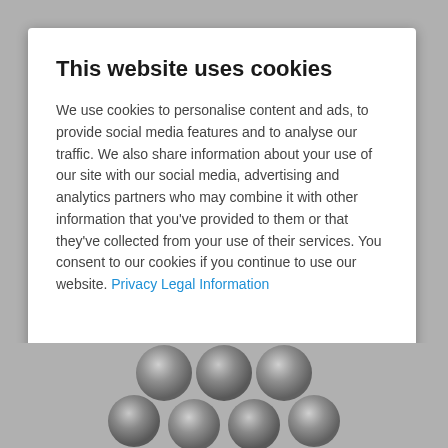This website uses cookies
We use cookies to personalise content and ads, to provide social media features and to analyse our traffic. We also share information about your use of our site with our social media, advertising and analytics partners who may combine it with other information that you've provided to them or that they've collected from your use of their services. You consent to our cookies if you continue to use our website. Privacy Legal Information
Show details
Allow all cookies
[Figure (photo): Cookie image showing round metallic cookie molds or cookie cutters from below, on grey background]